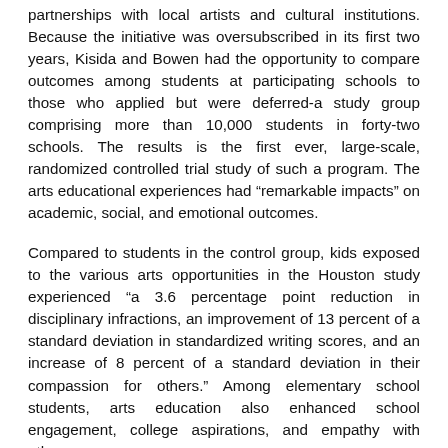partnerships with local artists and cultural institutions. Because the initiative was oversubscribed in its first two years, Kisida and Bowen had the opportunity to compare outcomes among students at participating schools to those who applied but were deferred-a study group comprising more than 10,000 students in forty-two schools. The results is the first ever, large-scale, randomized controlled trial study of such a program. The arts educational experiences had “remarkable impacts” on academic, social, and emotional outcomes.
Compared to students in the control group, kids exposed to the various arts opportunities in the Houston study experienced “a 3.6 percentage point reduction in disciplinary infractions, an improvement of 13 percent of a standard deviation in standardized writing scores, and an increase of 8 percent of a standard deviation in their compassion for others.” Among elementary school students, arts education also enhanced school engagement, college aspirations, and empathy with others.